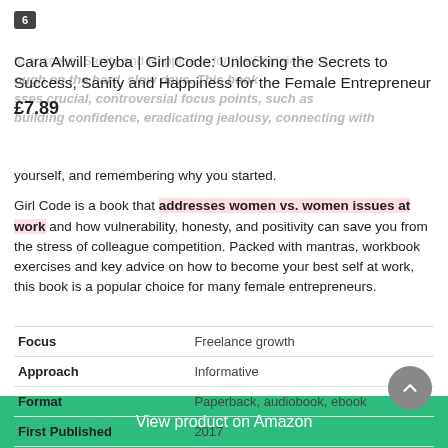6
Cara Alwill Leyba | Girl Code: Unlocking the Secrets to Success, Sanity and Happiness for the Female Entrepreneur
£7.89
yourself, and remembering why you started.

Girl Code is a book that addresses women vs. women issues at work and how vulnerability, honesty, and positivity can save you from the stress of colleague competition. Packed with mantras, workbook exercises and key advice on how to become your best self at work, this book is a popular choice for many female entrepreneurs.
|  |  |
| --- | --- |
| Focus | Freelance growth |
| Approach | Informative |
| Format | Paperback, audiobook, ebook |
| First Published | 2017 |
View product on Amazon